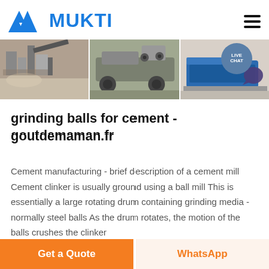[Figure (logo): MUKTI logo with blue triangular/mountain mark and blue bold text MUKTI]
[Figure (photo): Banner showing three construction/mining machinery photos side by side, with a teal LIVE CHAT bubble overlay at top right]
grinding balls for cement - goutdemaman.fr
Cement manufacturing - brief description of a cement mill Cement clinker is usually ground using a ball mill This is essentially a large rotating drum containing grinding media - normally steel balls As the drum rotates, the motion of the balls crushes the clinker
Get a Quote
WhatsApp